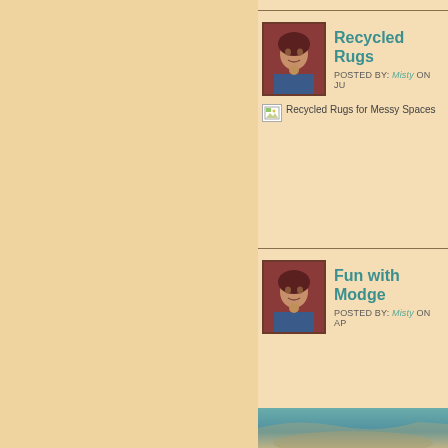Recycled Rugs
POSTED BY: Misty ON JU
[Figure (photo): Broken image placeholder for 'Recycled Rugs for Messy Spaces']
Fun with Modge
POSTED BY: Misty ON AP
[Figure (photo): Partial teal/blue image visible at bottom]